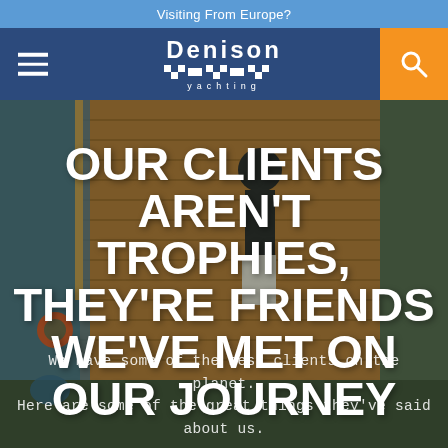Visiting From Europe?
[Figure (logo): Denison Yachting logo with navigation bar including hamburger menu and search button]
[Figure (photo): Aerial/overhead view of a yacht deck with a person walking on teak decking, life preservers visible on the side, water splashing alongside the boat]
OUR CLIENTS AREN'T TROPHIES, THEY'RE FRIENDS WE'VE MET ON OUR JOURNEY
We have some of the best clients on the planet. Here are some of the great things they've said about us.